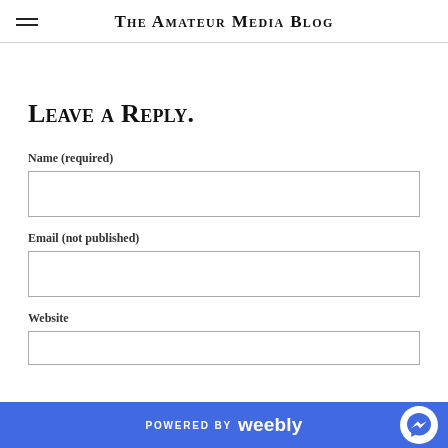The Amateur Media Blog
Leave a Reply.
Name (required)
Email (not published)
Website
POWERED BY weebly